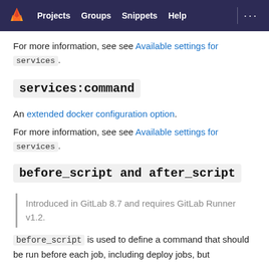Projects   Groups   Snippets   Help
For more information, see see Available settings for services.
services:command
An extended docker configuration option.
For more information, see see Available settings for services.
before_script and after_script
Introduced in GitLab 8.7 and requires GitLab Runner v1.2.
before_script is used to define a command that should be run before each job, including deploy jobs, but after the restore of any artifacts. This overrides